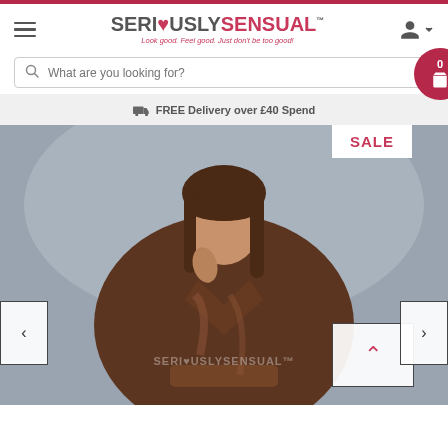[Figure (logo): SeriouslySensual logo with heart replacing 'O' in SERIOUSLY, tagline: Look good. Feel good. Just don't be too good!]
What are you looking for?
FREE Delivery over £40 Spend
[Figure (photo): Female model wearing brown satin robe, SALE badge top right, SeriouslySensual watermark, navigation arrows on sides and up arrow bottom right]
SALE
SERIOUSLYSENSUAL